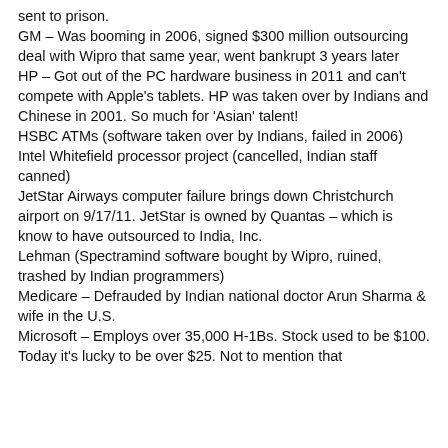sent to prison.
GM – Was booming in 2006, signed $300 million outsourcing deal with Wipro that same year, went bankrupt 3 years later
HP – Got out of the PC hardware business in 2011 and can't compete with Apple's tablets. HP was taken over by Indians and Chinese in 2001. So much for 'Asian' talent!
HSBC ATMs (software taken over by Indians, failed in 2006)
Intel Whitefield processor project (cancelled, Indian staff canned)
JetStar Airways computer failure brings down Christchurch airport on 9/17/11. JetStar is owned by Quantas – which is know to have outsourced to India, Inc.
Lehman (Spectramind software bought by Wipro, ruined, trashed by Indian programmers)
Medicare – Defrauded by Indian national doctor Arun Sharma & wife in the U.S.
Microsoft – Employs over 35,000 H-1Bs. Stock used to be $100. Today it's lucky to be over $25. Not to mention that